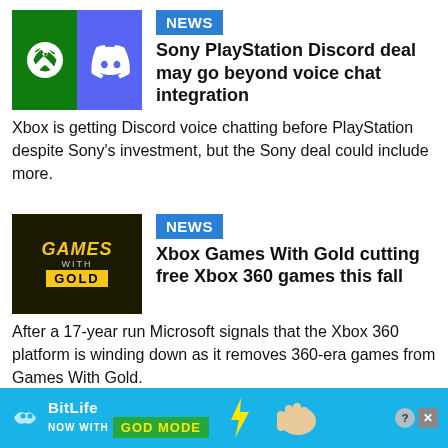[Figure (illustration): Xbox green logo and Discord purple logo side by side as thumbnail image]
NEWS
Sony PlayStation Discord deal may go beyond voice chat integration
Xbox is getting Discord voice chatting before PlayStation despite Sony's investment, but the Sony deal could include more.
[Figure (illustration): Games With Gold logo on dark background]
NEWS
Xbox Games With Gold cutting free Xbox 360 games this fall
After a 17-year run Microsoft signals that the Xbox 360 platform is winding down as it removes 360-era games from Games With Gold.
[Figure (screenshot): BitLife advertisement banner: NOW WITH GOD MODE]